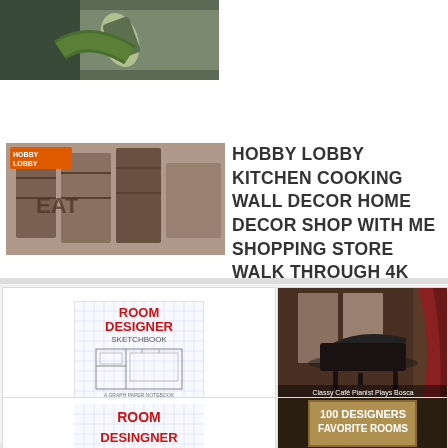[Figure (screenshot): Partial thumbnail of a video at the top of the page, showing a person holding something, cropped]
[Figure (screenshot): Thumbnail of Hobby Lobby store interior with orange Hobby Lobby badge overlay]
HOBBY LOBBY KITCHEN COOKING WALL DECOR HOME DECOR SHOP WITH ME SHOPPING STORE WALK THROUGH 4K
[Figure (photo): Room Designer Sketchbook: A Graph Paper Notebook for - book cover showing graph paper with floor plan sketch]
Room Designer Sketchbook: A Graph Paper Notebook for
$6.95 ✓prime
[Figure (photo): Designer Living Room - image showing a grand piano in an ornate vintage room]
Designer Living Room
$0.89
[Figure (photo): Room Designer Sketchbook bottom card, partial view of ROOM DESINGNER text in red on graph paper]
[Figure (photo): 100 Designers Favorite Rooms - partial book cover visible at bottom right]